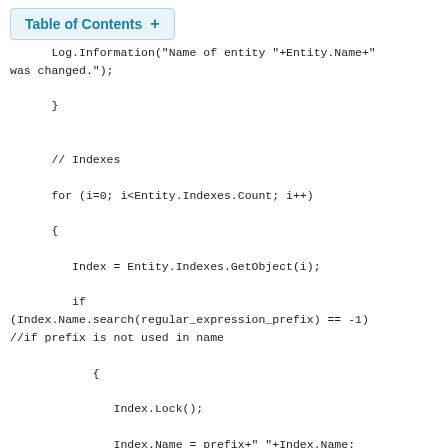Table of Contents +
Log.Information("Name of entity "+Entity.Name+"
was changed.");

      }


      // Indexes

      for (i=0; i<Entity.Indexes.Count; i++)

      {

         Index = Entity.Indexes.GetObject(i);

         if
(Index.Name.search(regular_expression_prefix) == -1)
//if prefix is not used in name

            {

               Index.Lock();

               Index.Name = prefix+"_"+Index.Name;

               Index.UnLock();

               Log.Information("Name of index "+Index.Name+"
is entity "+Index.Source.Name+" was changed.");